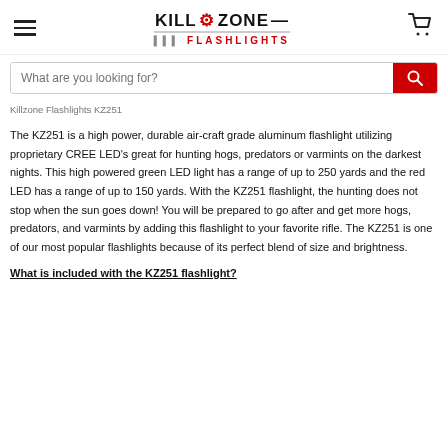Killzone Flashlights logo, hamburger menu, cart icon
What are you looking for?
Killzone Flashlights KZ251
The KZ251 is a high power, durable air-craft grade aluminum flashlight utilizing proprietary CREE LED's great for hunting hogs, predators or varmints on the darkest nights. This high powered green LED light has a range of up to 250 yards and the red LED has a range of up to 150 yards. With the KZ251 flashlight, the hunting does not stop when the sun goes down! You will be prepared to go after and get more hogs, predators, and varmints by adding this flashlight to your favorite rifle. The KZ251 is one of our most popular flashlights because of its perfect blend of size and brightness.
What is included with the KZ251 flashlight?